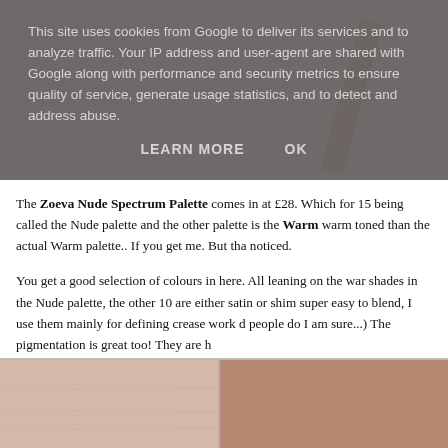[Figure (photo): Partial view of a cosmetic product (pencil/brush) on light background, cropped by cookie overlay]
This site uses cookies from Google to deliver its services and to analyze traffic. Your IP address and user-agent are shared with Google along with performance and security metrics to ensure quality of service, generate usage statistics, and to detect and address abuse.
LEARN MORE   OK
The Zoeva Nude Spectrum Palette comes in at £28. Which for 15 being called the Nude palette and the other palette is the Warm warm toned than the actual Warm palette.. If you get me. But tha noticed.
You get a good selection of colours in here. All leaning on the war shades in the Nude palette, the other 10 are either satin or shim super easy to blend, I use them mainly for defining crease work d people do I am sure...) The pigmentation is great too! They are h
[Figure (photo): Partial view of skin swatches showing eyeshadow colours applied on skin, cropped at bottom of page]